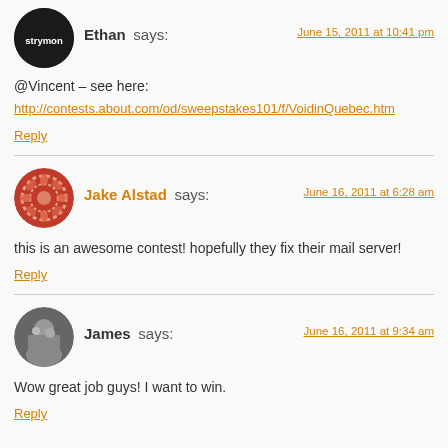Ethan says:
June 15, 2011 at 10:41 pm
@Vincent – see here:
http://contests.about.com/od/sweepstakes101/f/VoidinQuebec.htm
Reply
Jake Alstad says:
June 16, 2011 at 6:28 am
this is an awesome contest! hopefully they fix their mail server!
Reply
James says:
June 16, 2011 at 9:34 am
Wow great job guys! I want to win.
Reply